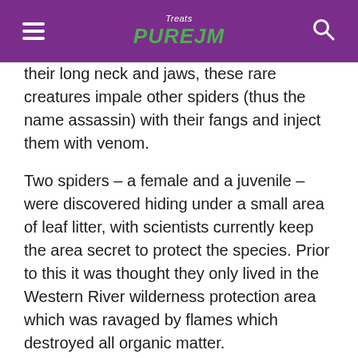PUREJM
their long neck and jaws, these rare creatures impale other spiders (thus the name assassin) with their fangs and inject them with venom.
Two spiders – a female and a juvenile – were discovered hiding under a small area of leaf litter, with scientists currently keep the area secret to protect the species. Prior to this it was thought they only lived in the Western River wilderness protection area which was ravaged by flames which destroyed all organic matter.
The two assassin spiders in question, were found 4kms away from the habitat previously known to researchers.